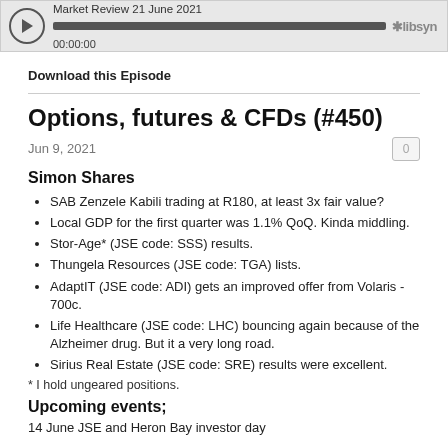[Figure (screenshot): Libsyn audio player bar showing 'Market Review 21 June 2021', progress bar, and timestamp 00:00:00]
Download this Episode
Options, futures & CFDs (#450)
Jun 9, 2021
Simon Shares
SAB Zenzele Kabili trading at R180, at least 3x fair value?
Local GDP for the first quarter was 1.1% QoQ. Kinda middling.
Stor-Age* (JSE code: SSS) results.
Thungela Resources (JSE code: TGA) lists.
AdaptIT (JSE code: ADI) gets an improved offer from Volaris - 700c.
Life Healthcare (JSE code: LHC) bouncing again because of the Alzheimer drug. But it a very long road.
Sirius Real Estate (JSE code: SRE) results were excellent.
* I hold ungeared positions.
Upcoming events;
14 June JSE and Heron Bay investor day